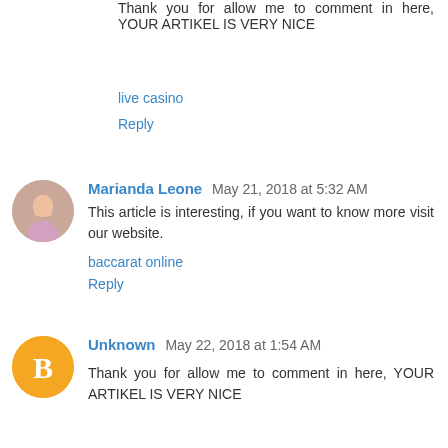Thank you for allow me to comment in here, YOUR ARTIKEL IS VERY NICE
live casino
Reply
Marianda Leone May 21, 2018 at 5:32 AM
This article is interesting, if you want to know more visit our website.
baccarat online
Reply
Unknown May 22, 2018 at 1:54 AM
Thank you for allow me to comment in here, YOUR ARTIKEL IS VERY NICE